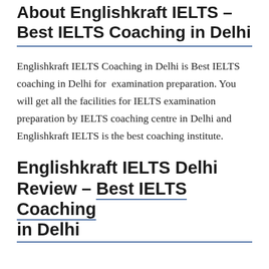About Englishkraft IELTS – Best IELTS Coaching in Delhi
Englishkraft IELTS Coaching in Delhi is Best IELTS coaching in Delhi for  examination preparation. You will get all the facilities for IELTS examination preparation by IELTS coaching centre in Delhi and Englishkraft IELTS is the best coaching institute.
Englishkraft IELTS Delhi Review – Best IELTS Coaching in Delhi